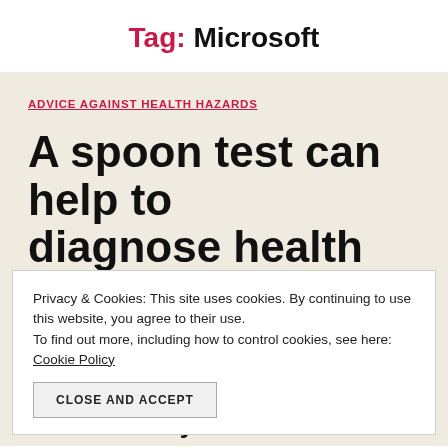Tag: Microsoft
ADVICE AGAINST HEALTH HAZARDS
A spoon test can help to diagnose health concerns
Privacy & Cookies: This site uses cookies. By continuing to use this website, you agree to their use.
To find out more, including how to control cookies, see here: Cookie Policy
CLOSE AND ACCEPT
doctor. We tend to ignore signs that our body